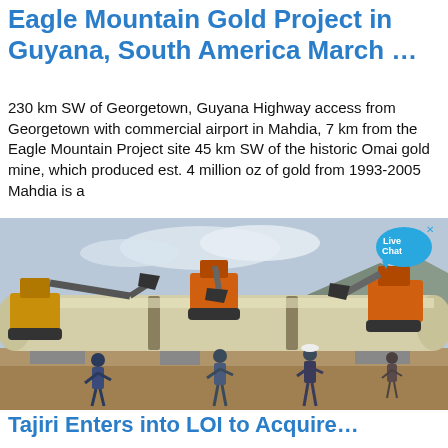Eagle Mountain Gold Project in Guyana, South America March …
230 km SW of Georgetown, Guyana Highway access from Georgetown with commercial airport in Mahdia, 7 km from the Eagle Mountain Project site 45 km SW of the historic Omai gold mine, which produced est. 4 million oz of gold from 1993-2005 Mahdia is a
[Figure (photo): Construction site photo showing a large cylindrical pipe or drum being lifted by multiple orange excavators/cranes, with workers standing nearby on a dirt/sand surface with mountains in the background.]
Tajiri Enters into LOI to Acquire…